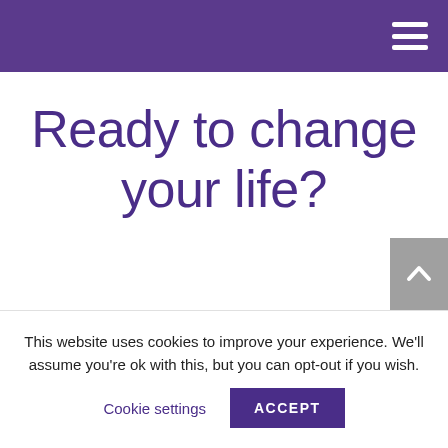Ready to change your life?
This website uses cookies to improve your experience. We'll assume you're ok with this, but you can opt-out if you wish.
Cookie settings   ACCEPT